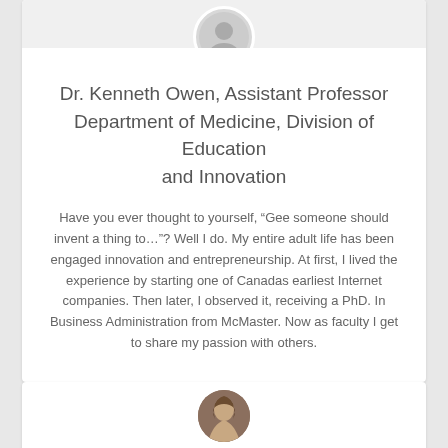[Figure (photo): Partial profile photo at top of first card (cropped, shows gray placeholder circle)]
Dr. Kenneth Owen, Assistant Professor Department of Medicine, Division of Education and Innovation
Have you ever thought to yourself, “Gee someone should invent a thing to…”? Well I do. My entire adult life has been engaged innovation and entrepreneurship. At first, I lived the experience by starting one of Canadas earliest Internet companies. Then later, I observed it, receiving a PhD. In Business Administration from McMaster. Now as faculty I get to share my passion with others.
[Figure (photo): Profile photo at top of second card (brown-haired person, partially cropped)]